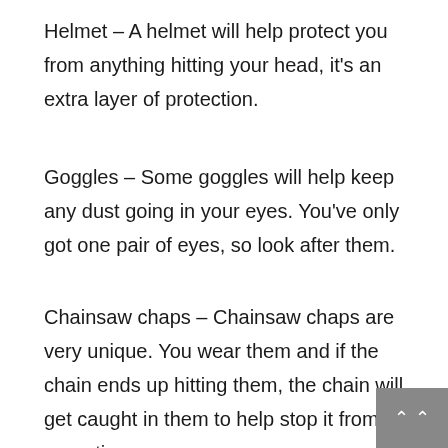Helmet – A helmet will help protect you from anything hitting your head, it's an extra layer of protection.
Goggles – Some goggles will help keep any dust going in your eyes. You've only got one pair of eyes, so look after them.
Chainsaw chaps – Chainsaw chaps are very unique. You wear them and if the chain ends up hitting them, the chain will get caught in them to help stop it from operating.